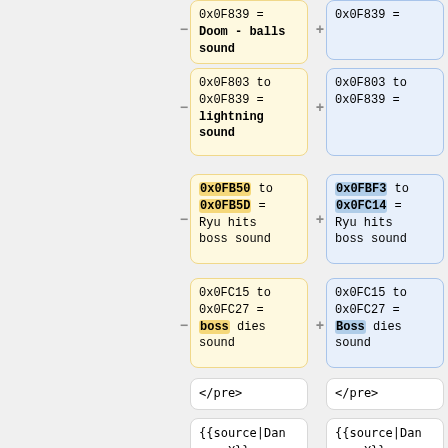0x0F839 = Doom - balls sound
0x0F839 =
0x0F803 to 0x0F839 = lightning sound
0x0F803 to 0x0F839 =
0x0FB50 to 0x0FB5D = Ryu hits boss sound
0x0FBF3 to 0x0FC14 = Ryu hits boss sound
0x0FC15 to 0x0FC27 = boss dies sound
0x0FC15 to 0x0FC27 = Boss dies sound
</pre>
</pre>
{{source|Danger X}}
{{source|Danger X}}